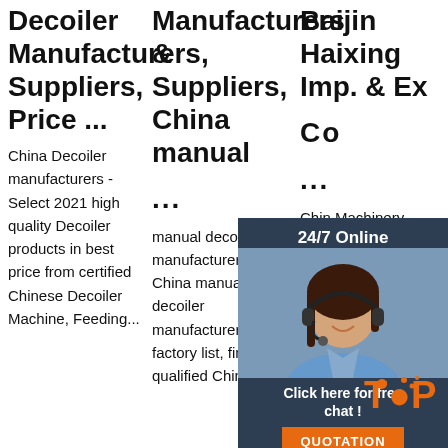Decoiler Manufacturers, Suppliers, Price ...
Manufacturers & Suppliers, China manual ...
Baijin Haixing Imp. & Exp. Co ...
China Decoiler manufacturers - Select 2021 high quality Decoiler products in best price from certified Chinese Decoiler Machine, Feeding...
manual decoiler manufacturer/supplier, China manual decoiler manufacturer & factory list, find qualified Chinese...
China Machinery Automatic Hydraulic Steel Coil Decoiler with Coil Car, Hydraulic Aluminum...
[Figure (infographic): Chat widget overlay with '24/7 Online' header, woman with headset photo, 'Click here for free chat!' text, and orange QUOTATION button]